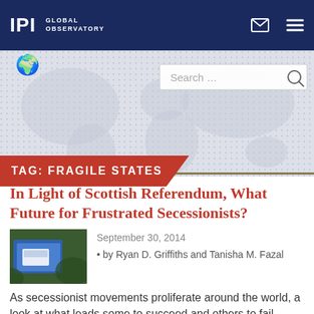IPI GLOBAL OBSERVATORY
[Figure (screenshot): World map dot pattern background with search bar overlay]
TAG: FRAGILE STATES
In Light of Scottish Referendum, What Future for Frustrated Secessionists?
September 30, 2014
by Ryan D. Griffiths and Tanisha M. Fazal
As secessionist movements proliferate around the world, a look at what leads some to succeed and others to fail.